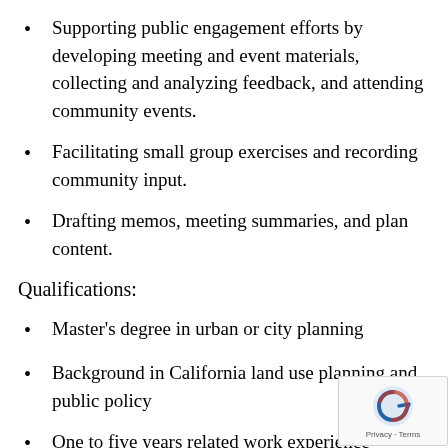Supporting public engagement efforts by developing meeting and event materials, collecting and analyzing feedback, and attending community events.
Facilitating small group exercises and recording community input.
Drafting memos, meeting summaries, and plan content.
Qualifications:
Master's degree in urban or city planning
Background in California land use planning and public policy
One to five years related work experience